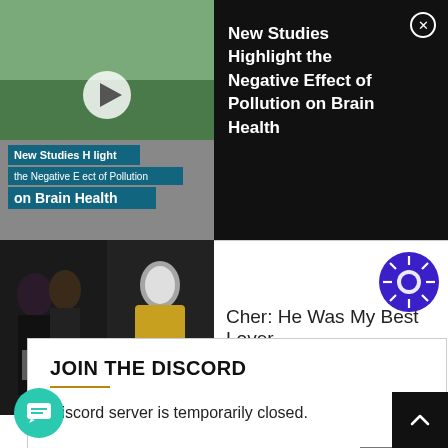[Figure (screenshot): Video thumbnail showing a person outdoors with text overlay: New Studies Highlight the Negative Effect of Pollution on Brain Health, with play button]
[Figure (screenshot): Black ad panel with close X button showing article title: New Studies Highlight the Negative Effect of Pollution on Brain Health]
[Figure (photo): Photo strip showing two celebrity images — left shows dark-haired woman with man in tuxedo, right shows a woman with golden dress]
Cher: He Was My Best Lover
JOIN THE DISCORD
Discord server is temporarily closed.
Close X